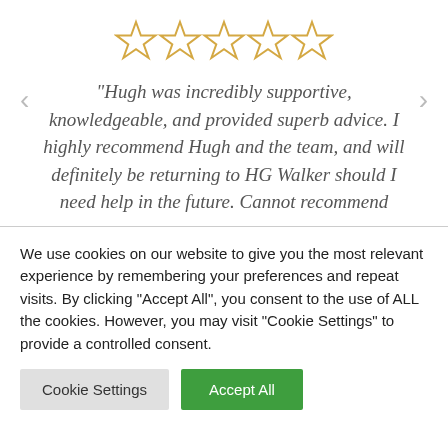[Figure (other): Five empty gold star rating icons in a row]
"Hugh was incredibly supportive, knowledgeable, and provided superb advice. I highly recommend Hugh and the team, and will definitely be returning to HG Walker should I need help in the future. Cannot recommend
We use cookies on our website to give you the most relevant experience by remembering your preferences and repeat visits. By clicking "Accept All", you consent to the use of ALL the cookies. However, you may visit "Cookie Settings" to provide a controlled consent.
Cookie Settings
Accept All